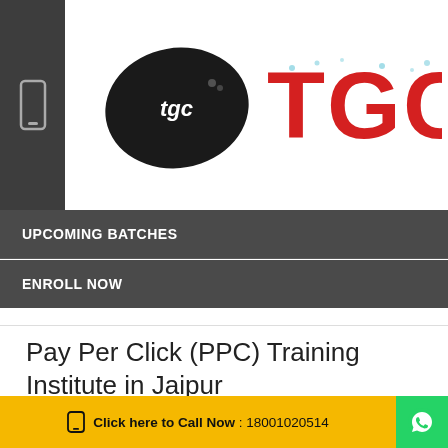[Figure (logo): TGC logo with black blob/stain mark on left and large red TGC text on right, on white background]
UPCOMING BATCHES
ENROLL NOW
Pay Per Click (PPC) Training Institute in Jaipur
INTRODUCTION OF BEST PPC COURSE IN JAIPUR
Click here to Call Now : 18001020514